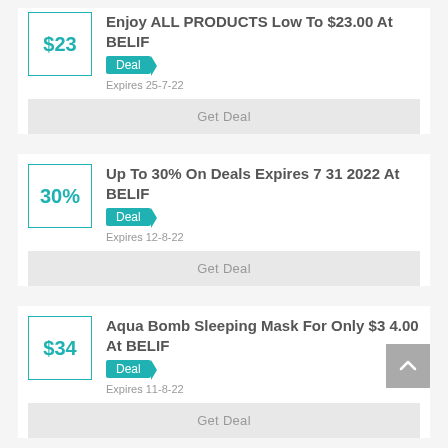$23
Enjoy ALL PRODUCTS Low To $23.00 At BELIF
Deal
Expires 25-7-22
Get Deal
30%
Up To 30% On Deals Expires 7 31 2022 At BELIF
Deal
Expires 12-8-22
Get Deal
$34
Aqua Bomb Sleeping Mask For Only $34.00 At BELIF
Deal
Expires 11-8-22
Get Deal